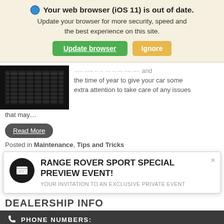Your web browser (iOS 11) is out of date. Update your browser for more security, speed and the best experience on this site.
Update browser | Ignore
[Figure (photo): Close-up photo of dark car grille]
the time of year to give your car some extra attention to take care of any issues that may...
Read More
Posted in Maintenance, Tips and Tricks
RANGE ROVER SPORT SPECIAL PREVIEW EVENT! YOUR INVITATION TO AN EXCLUSIVE PRIVATE EVENT
DEALERSHIP INFO
PHONE NUMBERS:
Contact Us | Ask | Chat | Call Us